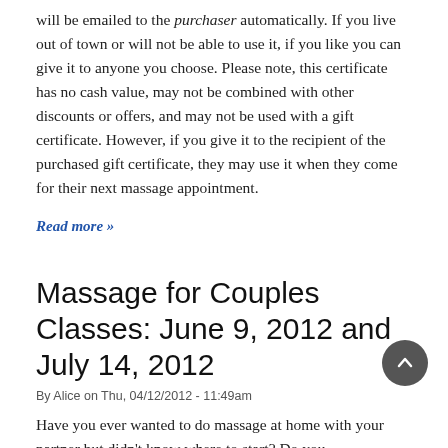will be emailed to the purchaser automatically. If you live out of town or will not be able to use it, if you like you can give it to anyone you choose. Please note, this certificate has no cash value, may not be combined with other discounts or offers, and may not be used with a gift certificate. However, if you give it to the recipient of the purchased gift certificate, they may use it when they come for their next massage appointment.
Read more »
Massage for Couples Classes: June 9, 2012 and July 14, 2012
By Alice on Thu, 04/12/2012 - 11:49am
Have you ever wanted to do massage at home with your partner but didn't know where to start? Do you